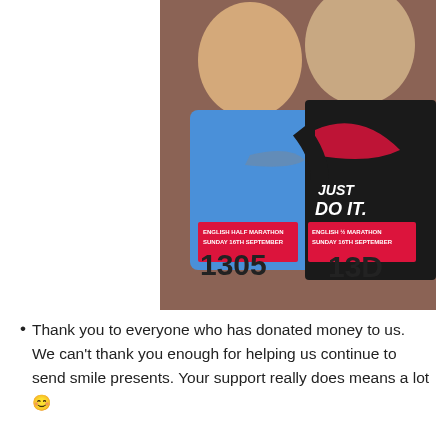[Figure (photo): Two men smiling at the camera, both wearing Nike athletic gear. The man on the left wears a blue Nike shirt and a race bib reading 'ENGLISH HALF MARATHON SUNDAY 16TH SEPTEMBER' with number 13050. The man on the right wears a black Nike 'JUST DO IT.' shirt and a race bib also reading 'ENGLISH HALF MARATHON SUNDAY 16TH SEPTEMBER' with number 13D. Brick wall background.]
Thank you to everyone who has donated money to us. We can't thank you enough for helping us continue to send smile presents. Your support really does means a lot 😊